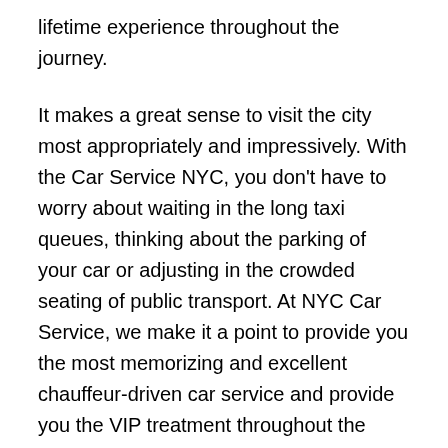lifetime experience throughout the journey.
It makes a great sense to visit the city most appropriately and impressively. With the Car Service NYC, you don't have to worry about waiting in the long taxi queues, thinking about the parking of your car or adjusting in the crowded seating of public transport. At NYC Car Service, we make it a point to provide you the most memorizing and excellent chauffeur-driven car service and provide you the VIP treatment throughout the journey.
We at NYC Car Service makes sure to provide you the safest mode of transportation whether you want to take a leisure ride in Cranberry Township, PA, or wish to travel through New York City, Manhattan and